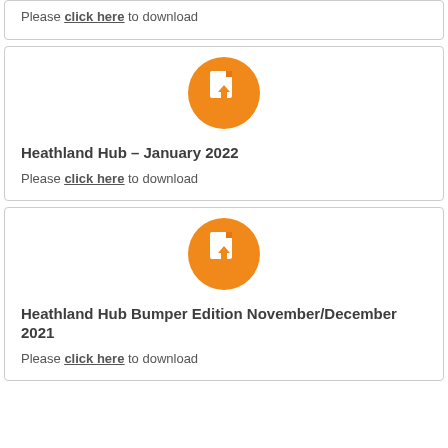Please click here to download
[Figure (illustration): Orange circle icon with a document and download arrow]
Heathland Hub – January 2022
Please click here to download
[Figure (illustration): Orange circle icon with a document and download arrow]
Heathland Hub Bumper Edition November/December 2021
Please click here to download